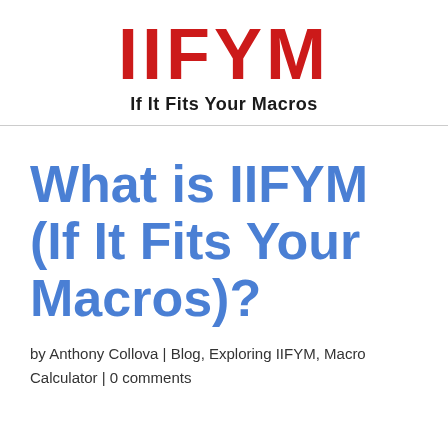IIFYM If It Fits Your Macros
What is IIFYM (If It Fits Your Macros)?
by Anthony Collova | Blog, Exploring IIFYM, Macro Calculator | 0 comments